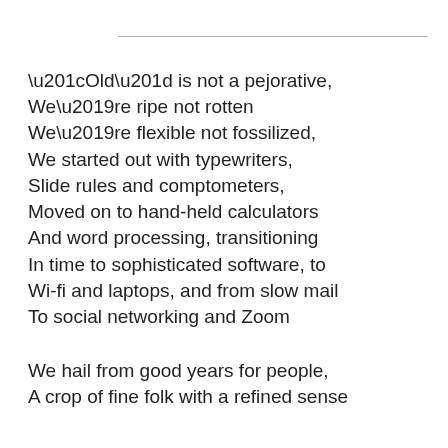“Old” is not a pejorative,
We’re ripe not rotten
We’re flexible not fossilized,
We started out with typewriters,
Slide rules and comptometers,
Moved on to hand-held calculators
And word processing, transitioning
In time to sophisticated software, to
Wi-fi and laptops, and from slow mail
To social networking and Zoom

We hail from good years for people,
A crop of fine folk with a refined sense